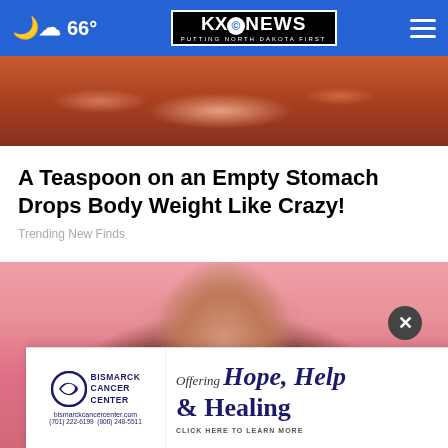66° KXO NEWS PUTTING NORTH DAKOTA FIRST
[Figure (photo): Close-up photo of what appears to be seasoned/glazed meat or food item with reddish-brown coloring]
A Teaspoon on an Empty Stomach Drops Body Weight Like Crazy!
Trending New Finds
[Figure (photo): Smiling young woman with curly hair on a pink background, holding what appears to be a credit card]
Offering Hope, Help & Healing — Bismarck Cancer Center — bismarckcancercenter.com — (701) 222-6199  (800) 248-5511 — CLICK HERE TO LEARN MORE